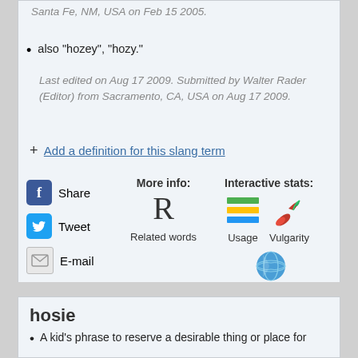Santa Fe, NM, USA on Feb 15 2005.
also "hozey", "hozy."
Last edited on Aug 17 2009. Submitted by Walter Rader (Editor) from Sacramento, CA, USA on Aug 17 2009.
+ Add a definition for this slang term
[Figure (infographic): Social sharing icons and interactive stats section with Share (Facebook), Tweet (Twitter), E-mail icons; Related words (R letter), Usage (bar chart icon), Vulgarity (chili pepper icon), SlangMap (globe icon)]
hosie
A kid's phrase to reserve a desirable thing or place for